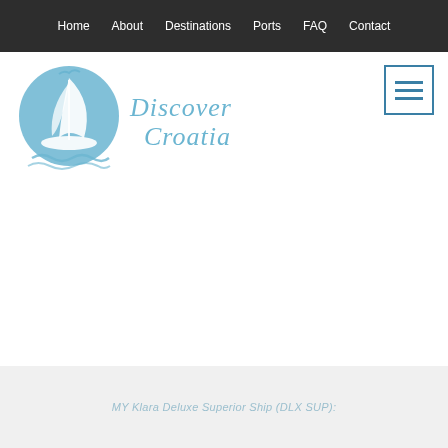Home   About   Destinations   Ports   FAQ   Contact
[Figure (logo): Discover Croatia sailing boat logo with circular wave design in teal/blue color, with cursive 'Discover Croatia' text]
[Figure (other): Hamburger menu icon with three horizontal blue lines inside a square border]
MY Klara Deluxe Superior Ship (DLX SUP):